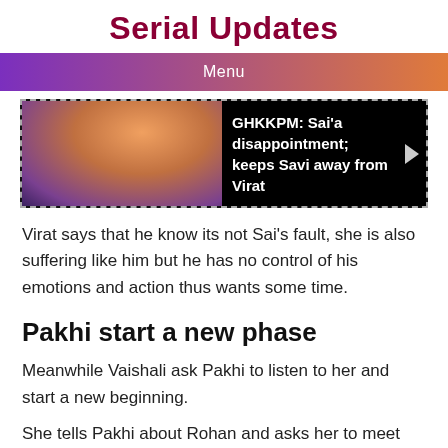Serial Updates
Menu
[Figure (photo): A photo showing characters in colorful Indian attire, with a black overlay text area reading 'GHKKPM: Sai'a disappointment; keeps Savi away from Virat' and a right-pointing arrow icon.]
Virat says that he know its not Sai’s fault, she is also suffering like him but he has no control of his emotions and action thus wants some time.
Pakhi start a new phase
Meanwhile Vaishali ask Pakhi to listen to her and start a new beginning.
She tells Pakhi about Rohan and asks her to meet him. Vaishali makes Pakhi ready in coloured saari .